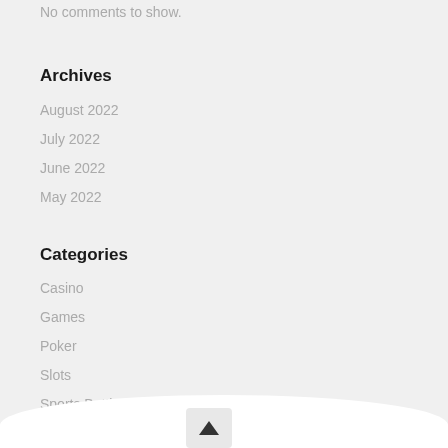No comments to show.
Archives
August 2022
July 2022
June 2022
May 2022
Categories
Casino
Games
Poker
Slots
Sports Betting